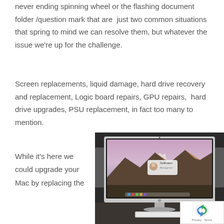never ending spinning wheel or the flashing document folder /question mark that are  just two common situations that spring to mind we can resolve them, but whatever the issue we're up for the challenge.
Screen replacements, liquid damage, hard drive recovery and replacement, Logic board repairs, GPU repairs,  hard drive upgrades, PSU replacement, in fact too many to mention.
While it's here we could upgrade your Mac by replacing the
[Figure (photo): Photo of an iMac desktop computer on a desk showing macOS Sierra desktop with mountain wallpaper]